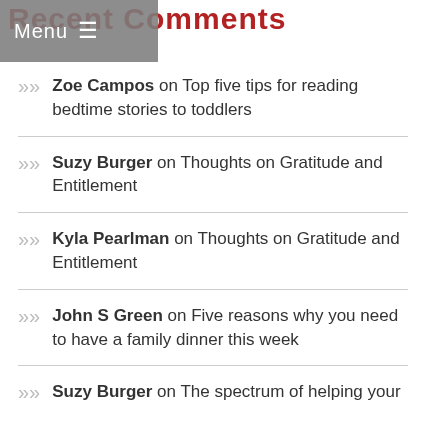Recent Comments
Menu
Zoe Campos on Top five tips for reading bedtime stories to toddlers
Suzy Burger on Thoughts on Gratitude and Entitlement
Kyla Pearlman on Thoughts on Gratitude and Entitlement
John S Green on Five reasons why you need to have a family dinner this week
Suzy Burger on The spectrum of helping your